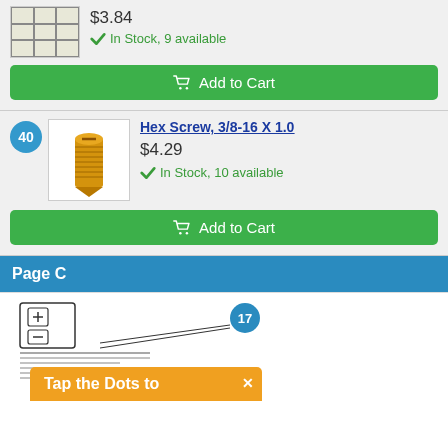$3.84
In Stock, 9 available
Add to Cart
40
Hex Screw, 3/8-16 X 1.0
$4.29
In Stock, 10 available
Add to Cart
Page C
17
Tap the Dots to